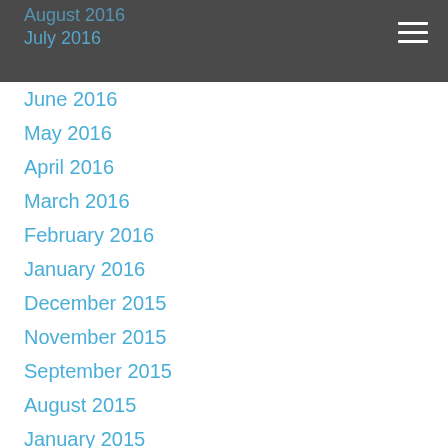August 2016
July 2016
June 2016
May 2016
April 2016
March 2016
February 2016
January 2016
December 2015
November 2015
September 2015
August 2015
January 2015
September 2014
April 2014
January 2014
April 2013
August 2012
February 2009